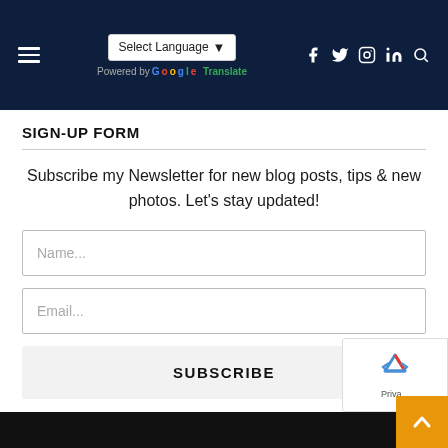Select Language | Powered by Google Translate | Social icons: f, Twitter, Instagram, in, Search
SIGN-UP FORM
Subscribe my Newsletter for new blog posts, tips & new photos. Let's stay updated!
Name...
Email...
SUBSCRIBE
Privacy | Scroll to top